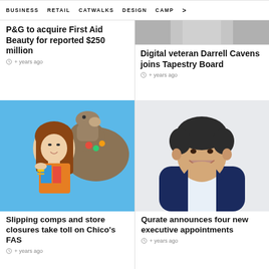BUSINESS   RETAIL   CATWALKS   DESIGN   CAMP >
P&G to acquire First Aid Beauty for reported $250 million
4 years ago
Digital veteran Darrell Cavens joins Tapestry Board
4 years ago
[Figure (photo): Woman smiling with a camel in the background, colorful clothing, outdoor setting]
Slipping comps and store closures take toll on Chico's FAS
4 years ago
[Figure (photo): Smiling man in a navy blazer against a light grey background, headshot portrait]
Qurate announces four new executive appointments
4 years ago